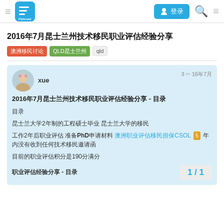Flybroad navigation bar with logo, login button, search and menu icons
2016年7月昆士兰州技术移民职业评估经验分享
澳洲移民讨论 QLD昆士兰州 qld
xue · 3 编辑 16年7月
2016年7月昆士兰州技术移民职业评估经验分享 - 目录
目录
昆士兰大学2年制的工程硕士毕业 昆士兰大学的移民
工作2年后职业评估 准备PhD申请材料 澳洲职业评估移民担保CSOL 5 年内没有收到任何技术移民邀请函
目前的职业评估积分是190分满分
职业评估经验分享 - 目录
1 / 1